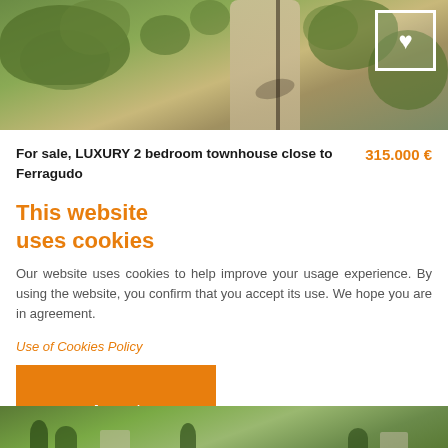[Figure (photo): Aerial or elevated view of a garden/landscaped area with green shrubs, gravel path, and a heart-icon box in the top-right corner]
For sale, LUXURY 2 bedroom townhouse close to Ferragudo
315.000 €
This website uses cookies
Our website uses cookies to help improve your usage experience. By using the website, you confirm that you accept its use. We hope you are in agreement.
Use of Cookies Policy
Accept
[Figure (photo): Aerial view of a green landscape with trees and buildings at the bottom of the page]